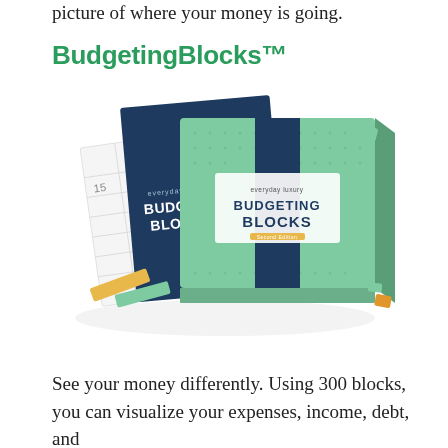picture of where your money is going.
BudgetingBlocks™
[Figure (photo): Product photo of BudgetingBlocks kit: a green box labeled 'everyday luxury BUDGETING BLOCKS' with a navy blue stripe, a dark blue booklet labeled 'everyday BUDGET BLOCKS', a grid/worksheet, small green cube blocks, and orange/mustard colored rectangular blocks scattered around.]
See your money differently. Using 300 blocks, you can visualize your expenses, income, debt, and